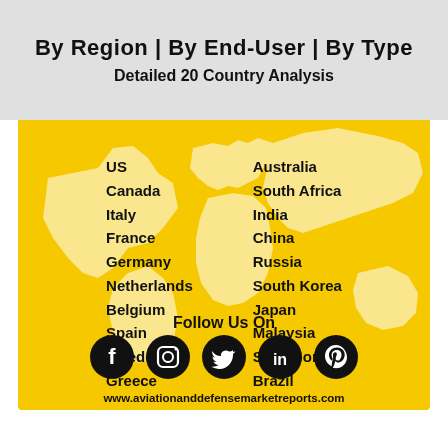By Region | By End-User | By Type
Detailed 20 Country Analysis
[Figure (infographic): World map silhouette in white on yellow background with two columns of 10 country names each listed over the map]
US
Canada
Italy
France
Germany
Netherlands
Belgium
Spain
Sweden
Greece
Australia
South Africa
India
China
Russia
South Korea
Japan
Malaysia
Singapore
Brazil
Follow Us On
www.aviationanddefensemarketreports.com